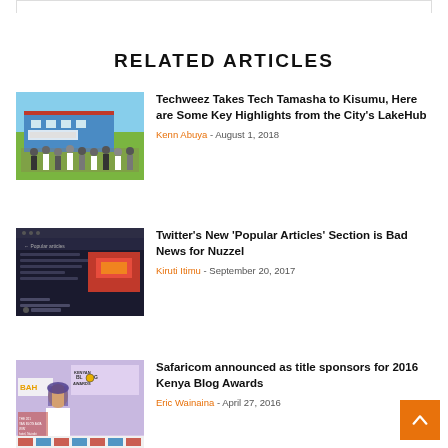RELATED ARTICLES
[Figure (photo): Group photo of people standing in front of a building, Tech Tamasha event at LakeHub Kisumu]
Techweez Takes Tech Tamasha to Kisumu, Here are Some Key Highlights from the City's LakeHub
Kenn Abuya - August 1, 2018
[Figure (screenshot): Twitter app screenshot showing Popular Articles section with Black Artisans content]
Twitter's New 'Popular Articles' Section is Bad News for Nuzzel
Kiruti Itimu - September 20, 2017
[Figure (photo): Person at Kenya Blog Awards event with BAHA sign and Kenyan Blog Awards backdrop]
Safaricom announced as title sponsors for 2016 Kenya Blog Awards
Eric Wainaina - April 27, 2016